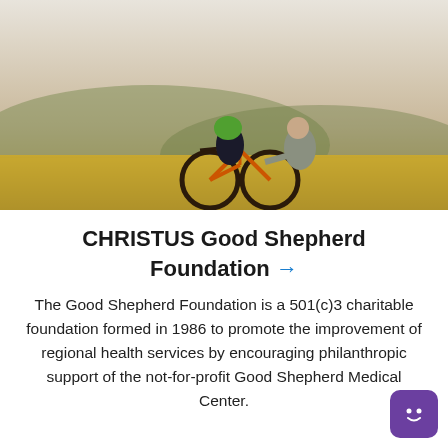[Figure (photo): Adult man helping a child ride a bicycle in an open golden field with hills in the background. The child wears a green helmet and rides an orange bike. Outdoor scene with warm sunset light.]
CHRISTUS Good Shepherd Foundation →
The Good Shepherd Foundation is a 501(c)3 charitable foundation formed in 1986 to promote the improvement of regional health services by encouraging philanthropic support of the not-for-profit Good Shepherd Medical Center.